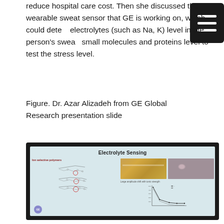reduce hospital care cost. Then she discussed the wearable sweat sensor that GE is working on, which could detect electrolytes (such as Na, K) level in the person's sweat, small molecules and proteins level to test the stress level.
Figure. Dr. Azar Alizadeh from GE Global Research presentation slide
[Figure (photo): A photograph of a presentation slide shown on a monitor screen. The slide is titled 'Electrolyte Sensing' and contains a structural diagram of ion-selective polymers on the left, two photographs (one of an orange-colored material, one of a pink cellular structure) on the upper right, and a line graph titled 'Large amplitude shift with ionic strength' on the lower right. A GE logo appears in the bottom left corner of the slide.]